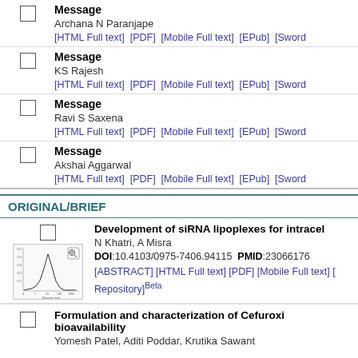Message
Archana N Paranjape
[HTML Full text] [PDF] [Mobile Full text] [EPub] [Sword...]
Message
KS Rajesh
[HTML Full text] [PDF] [Mobile Full text] [EPub] [Sword...]
Message
Ravi S Saxena
[HTML Full text] [PDF] [Mobile Full text] [EPub] [Sword...]
Message
Akshai Aggarwal
[HTML Full text] [PDF] [Mobile Full text] [EPub] [Sword...]
ORIGINAL/BRIEF
Development of siRNA lipoplexes for intracel...
N Khatri, A Misra
DOI:10.4103/0975-7406.94115  PMID:23066176
[ABSTRACT] [HTML Full text] [PDF] [Mobile Full text] [...] Repository]Beta
Formulation and characterization of Cefuroxi... bioavailability
Yomesh Patel, Aditi Poddar, Krutika Sawant